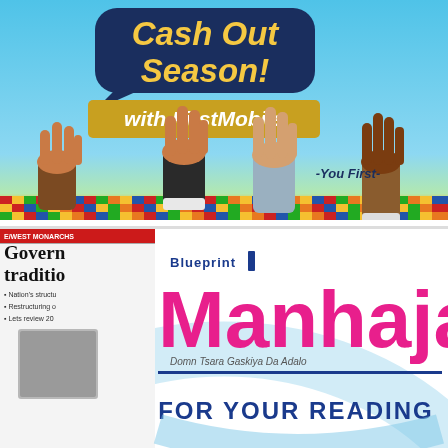[Figure (illustration): Advertisement for FirstMobile bank: 'Cash Out Season! with FirstMobile' text over blue sky background with illustrated hands raised holding a sign. Tagline: 'You First']
[Figure (logo): Blueprint Manhaja magazine logo with pink 'Manhaja' text, 'Blueprint' label with blue bar, subtitle 'Domn Tsara Gaskiya Da Adalo', and 'FOR YOUR READING' text below. A small newspaper image visible on the left.]